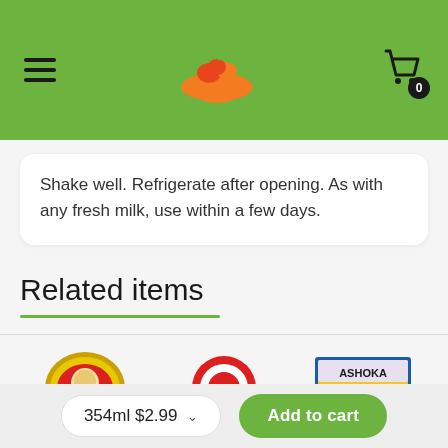Navigation bar with hamburger menu, fruit bowl logo, and shopping cart with badge 0
Shake well. Refrigerate after opening. As with any fresh milk, use within a few days.
Related items
[Figure (photo): Three product thumbnails: red oval logo (Indian brand), red circular logo, and ASHOKA branded product box]
354ml $2.99 ∨  Add to cart